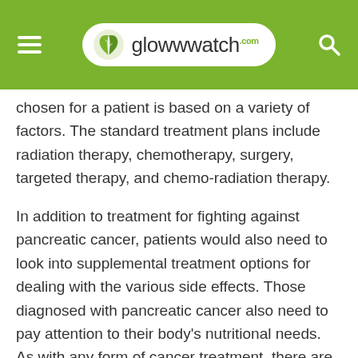glowwwatch.com
chosen for a patient is based on a variety of factors. The standard treatment plans include radiation therapy, chemotherapy, surgery, targeted therapy, and chemo-radiation therapy.
In addition to treatment for fighting against pancreatic cancer, patients would also need to look into supplemental treatment options for dealing with the various side effects. Those diagnosed with pancreatic cancer also need to pay attention to their body’s nutritional needs. As with any form of cancer treatment, there are side effects associated with the treatment for pancreatic cancer as well. It is not sufficient to get onto a treatment plan and then back out when remission begins. Constant monitoring and follow up with doctors is needed to ensure